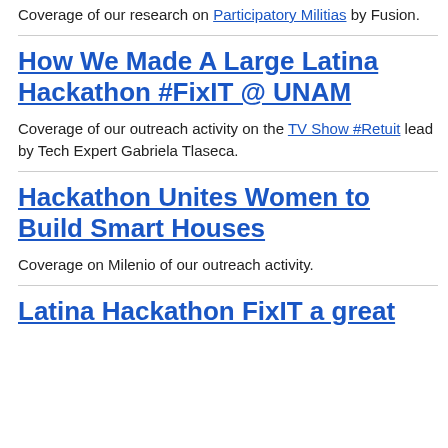Coverage of our research on Participatory Militias by Fusion.
How We Made A Large Latina Hackathon #FixIT @ UNAM
Coverage of our outreach activity on the TV Show #Retuit lead by Tech Expert Gabriela Tlaseca.
Hackathon Unites Women to Build Smart Houses
Coverage on Milenio of our outreach activity.
Latina Hackathon FixIT a great